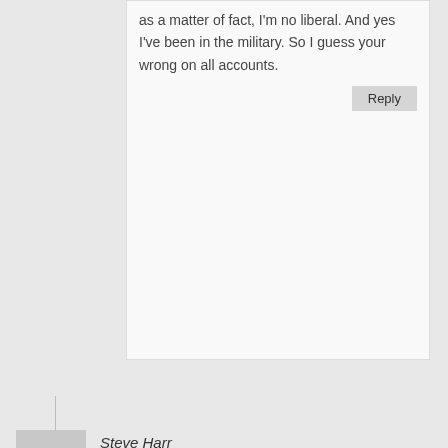as a matter of fact, I'm no liberal. And yes I've been in the military. So I guess your wrong on all accounts.
Reply
Steve Harr
February 15, 2015 at 12:50 pm
Hell he should be happy living in the male Leavenworth Military Barracks, all the ATTENTION he can get from the guys.. ....does he think he'll be transferred to a woman barracks when his treatment is completed...Hell yes he does.....
Reply
G. young
February 15, 2015 at 1:25 pm